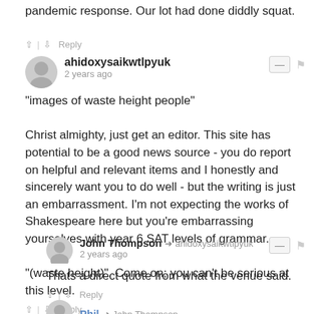pandemic response. Our lot had done diddly squat.
^ | v  Reply
ahidoxysaikwtlpyuk
2 years ago
"images of waste height people"

Christ almighty, just get an editor. This site has potential to be a good news source - you do report on helpful and relevant items and I honestly and sincerely want you to do well - but the writing is just an embarrassment. I'm not expecting the works of Shakespeare here but you're embarrassing yourselves with year 6 SAT levels of grammar.

"(waste height)". Come on; you can't be serious at this level.
^ | v  Reply
John Thompson → ahidoxysaikwtlpyuk
2 years ago
Thats a direct quote from what the venue said.
^ | v  Reply
Phil → John Thompson